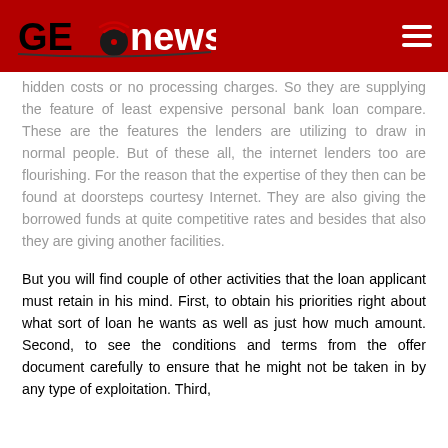GEOnewss
hidden costs or no processing charges. So they are supplying the feature of least expensive personal bank loan compare. These are the features the lenders are utilizing to draw in normal people. But of these all, the internet lenders too are flourishing. For the reason that the expertise of they then can be found at doorsteps courtesy Internet. They are also giving the borrowed funds at quite competitive rates and besides that also they are giving another facilities.
But you will find couple of other activities that the loan applicant must retain in his mind. First, to obtain his priorities right about what sort of loan he wants as well as just how much amount. Second, to see the conditions and terms from the offer document carefully to ensure that he might not be taken in by any type of exploitation. Third,